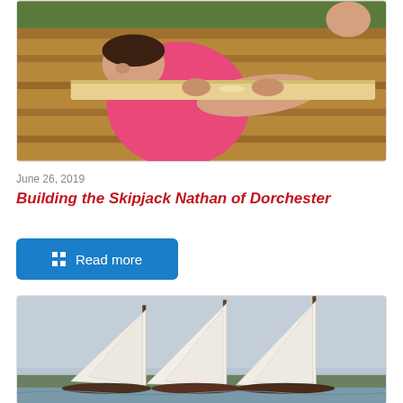[Figure (photo): Man in pink shirt working on wooden boat construction, leaning over the gunwale planing or sanding wood]
June 26, 2019
Building the Skipjack Nathan of Dorchester
Read more
[Figure (photo): Three sailboats with tall white sails racing or sailing together on calm water under a grey sky]